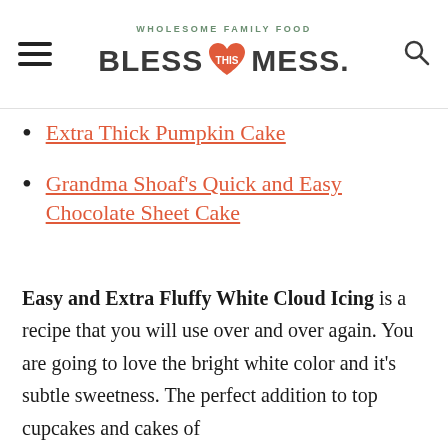WHOLESOME FAMILY FOOD | BLESS THIS MESS.
Extra Thick Pumpkin Cake
Grandma Shoaf's Quick and Easy Chocolate Sheet Cake
Easy and Extra Fluffy White Cloud Icing is a recipe that you will use over and over again. You are going to love the bright white color and it's subtle sweetness. The perfect addition to top cupcakes and cakes of